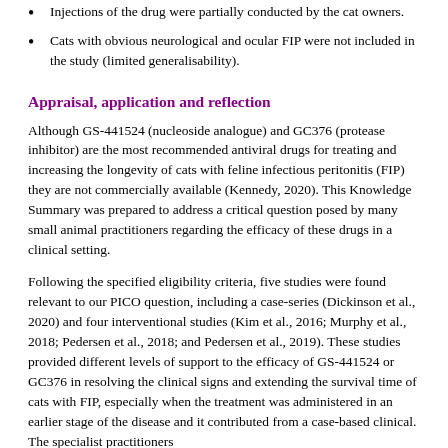Injections of the drug were partially conducted by the cat owners.
Cats with obvious neurological and ocular FIP were not included in the study (limited generalisability).
Appraisal, application and reflection
Although GS-441524 (nucleoside analogue) and GC376 (protease inhibitor) are the most recommended antiviral drugs for treating and increasing the longevity of cats with feline infectious peritonitis (FIP) they are not commercially available (Kennedy, 2020). This Knowledge Summary was prepared to address a critical question posed by many small animal practitioners regarding the efficacy of these drugs in a clinical setting.
Following the specified eligibility criteria, five studies were found relevant to our PICO question, including a case-series (Dickinson et al., 2020) and four interventional studies (Kim et al., 2016; Murphy et al., 2018; Pedersen et al., 2018; and Pedersen et al., 2019). These studies provided different levels of support to the efficacy of GS-441524 or GC376 in resolving the clinical signs and extending the survival time of cats with FIP, especially when the treatment was administered in an earlier stage of the disease and it contributed from a case-based clinical. The specialist practitioners